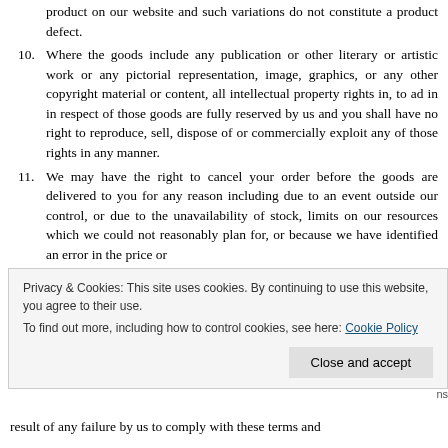product on our website and such variations do not constitute a product defect.
10. Where the goods include any publication or other literary or artistic work or any pictorial representation, image, graphics, or any other copyright material or content, all intellectual property rights in, to ad in in respect of those goods are fully reserved by us and you shall have no right to reproduce, sell, dispose of or commercially exploit any of those rights in any manner.
11. We may have the right to cancel your order before the goods are delivered to you for any reason including due to an event outside our control, or due to the unavailability of stock, limits on our resources which we could not reasonably plan for, or because we have identified an error in the price or
Privacy & Cookies: This site uses cookies. By continuing to use this website, you agree to their use.
To find out more, including how to control cookies, see here: Cookie Policy
result of any failure by us to comply with these terms and